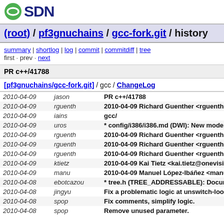[Figure (logo): OSDN logo with green oval icon and dark blue SDN text]
(root) / pf3gnuchains / gcc-fork.git / history
summary | shortlog | log | commit | commitdiff | tree
first · prev · next
PR c++/41788
[pf3gnuchains/gcc-fork.git] / gcc / ChangeLog
| Date | Author | Message |
| --- | --- | --- |
| 2010-04-09 | jason | PR c++/41788 |
| 2010-04-09 | rguenth | 2010-04-09 Richard Guenther <rguenther@su |
| 2010-04-09 | iains | gcc/ |
| 2010-04-09 | uros | * config/i386/i386.md (DWI): New mode iterato |
| 2010-04-09 | rguenth | 2010-04-09 Richard Guenther <rguenther@su |
| 2010-04-09 | rguenth | 2010-04-09 Richard Guenther <rguenther@su |
| 2010-04-09 | rguenth | 2010-04-09 Richard Guenther <rguenther@su |
| 2010-04-09 | ktietz | 2010-04-09 Kai Tietz <kai.tietz@onevision.com |
| 2010-04-09 | manu | 2010-04-09 Manuel López-Ibáñez <manu@gcc |
| 2010-04-08 | ebotcazou | * tree.h (TREE_ADDRESSABLE): Document it |
| 2010-04-08 | jingyu | Fix a problematic logic at unswitch-loops pas |
| 2010-04-08 | spop | Fix comments, simplify logic. |
| 2010-04-08 | spop | Remove unused parameter. |